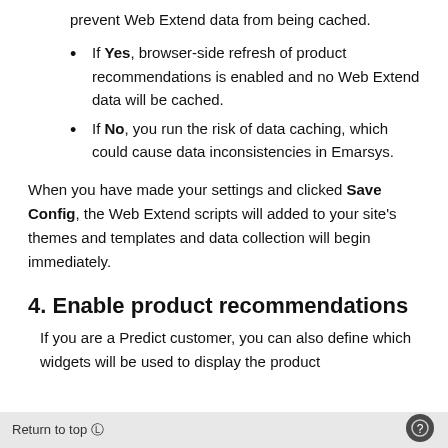prevent Web Extend data from being cached.
If Yes, browser-side refresh of product recommendations is enabled and no Web Extend data will be cached.
If No, you run the risk of data caching, which could cause data inconsistencies in Emarsys.
When you have made your settings and clicked Save Config, the Web Extend scripts will added to your site's themes and templates and data collection will begin immediately.
4. Enable product recommendations
If you are a Predict customer, you can also define which widgets will be used to display the product
Return to top ↑